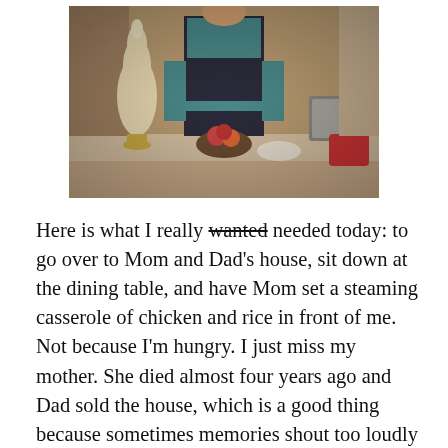[Figure (photo): Vintage photograph of a person standing in a kitchen, wearing a dark vest and teal shirt. On the counter is a decorative ornament tree, a fruit bowl, and kitchen appliances.]
Here is what I really wanted needed today: to go over to Mom and Dad's house, sit down at the dining table, and have Mom set a steaming casserole of chicken and rice in front of me. Not because I'm hungry. I just miss my mother. She died almost four years ago and Dad sold the house, which is a good thing because sometimes memories shout too loudly in familiar places. We still have Dad,